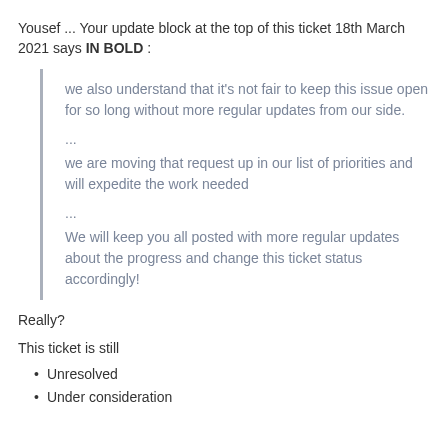Yousef ... Your update block at the top of this ticket 18th March 2021 says IN BOLD :
we also understand that it's not fair to keep this issue open for so long without more regular updates from our side.
...
we are moving that request up in our list of priorities and will expedite the work needed
...
We will keep you all posted with more regular updates about the progress and change this ticket status accordingly!
Really?
This ticket is still
Unresolved
Under consideration